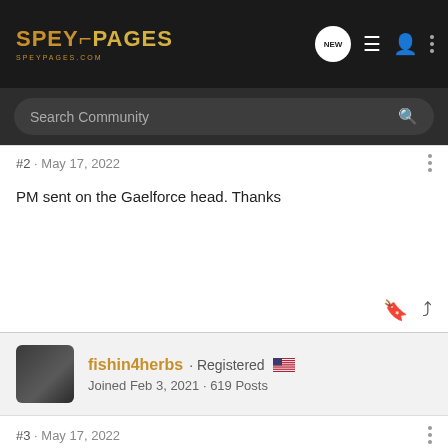SPEYPAGES
Search Community
#2 · May 17, 2022
PM sent on the Gaelforce head. Thanks
fishin4herbs · Registered
Joined Feb 3, 2021 · 619 Posts
#3 · May 17, 2022